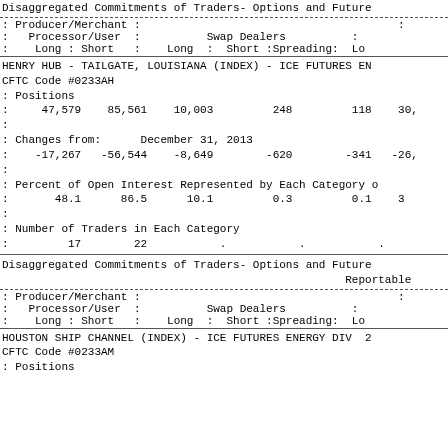Disaggregated Commitments of Traders- Options and Futures                                           Reportable
| Producer/Merchant |  | Swap Dealers |  |  |
| --- | --- | --- | --- | --- |
| Processor/User | : | Swap Dealers | : |  |
| Long : Short | : | Long : Short :Spreading: | Lo |
HENRY HUB - TAILGATE, LOUISIANA (INDEX) - ICE FUTURES ENE
CFTC Code #0233AH
: Positions
:   47,579    85,561    10,003         248         118    30,
: Changes from:      December 31, 2013
:   -17,267   -56,544    -8,649        -620        -341   -26,
: Percent of Open Interest Represented by Each Category o
:       48.1      86.5      10.1         0.3         0.1    3
: Number of Traders in Each Category
:         17        22           .           .           .
Disaggregated Commitments of Traders- Options and Futures
                                                        Reportable
| Producer/Merchant |  | Swap Dealers |  |  |
| --- | --- | --- | --- | --- |
| Processor/User | : | Swap Dealers | : |  |
| Long : Short | : | Long : Short :Spreading: | Lo |
HOUSTON SHIP CHANNEL (INDEX) - ICE FUTURES ENERGY DIV  2
CFTC Code #0233AM
: Positions